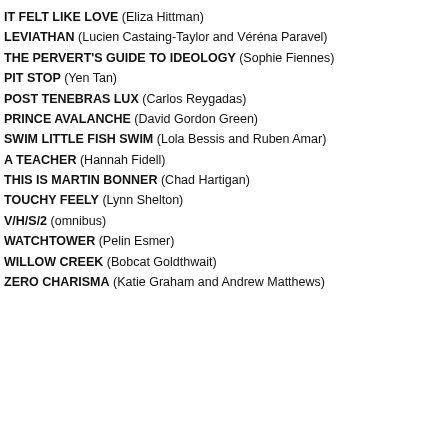IT FELT LIKE LOVE (Eliza Hittman)
LEVIATHAN (Lucien Castaing-Taylor and Véréna Paravel)
THE PERVERT'S GUIDE TO IDEOLOGY (Sophie Fiennes)
PIT STOP (Yen Tan)
POST TENEBRAS LUX (Carlos Reygadas)
PRINCE AVALANCHE (David Gordon Green)
SWIM LITTLE FISH SWIM (Lola Bessis and Ruben Amar)
A TEACHER (Hannah Fidell)
THIS IS MARTIN BONNER (Chad Hartigan)
TOUCHY FEELY (Lynn Shelton)
V/H/S/2 (omnibus)
WATCHTOWER (Pelin Esmer)
WILLOW CREEK (Bobcat Goldthwait)
ZERO CHARISMA (Katie Graham and Andrew Matthews)